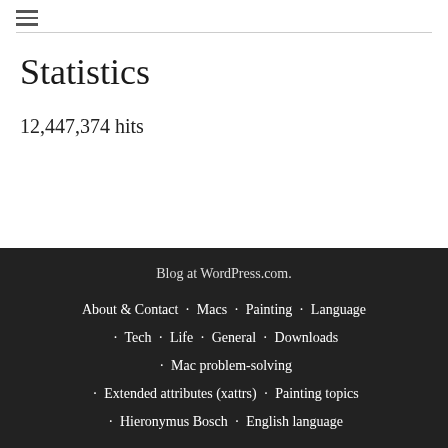☰
Statistics
12,447,374 hits
Blog at WordPress.com. About & Contact · Macs · Painting · Language · Tech · Life · General · Downloads · Mac problem-solving · Extended attributes (xattrs) · Painting topics · Hieronymus Bosch · English language